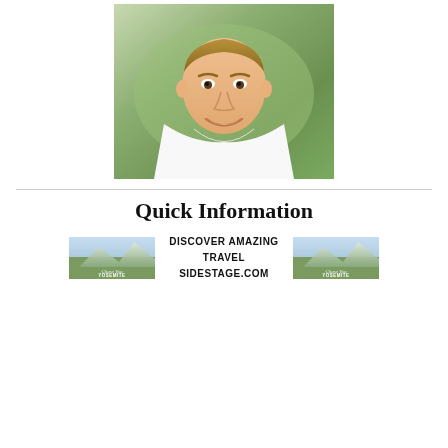[Figure (photo): Portrait photo of a young smiling man with light brown hair wearing a white v-neck t-shirt, with a blurred green outdoor background]
Quick Information
[Figure (infographic): Advertisement banner with two Yosemite mountain landscape images flanking centered bold text reading DISCOVER AMAZING TRAVEL SIDESTAGE.COM]